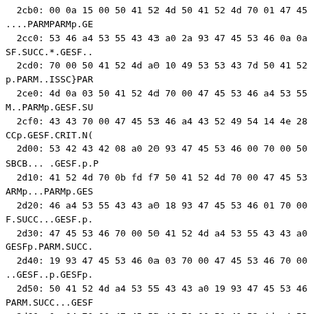2cb0: 00 0a 15 00 50 41 52 4d 50 41 52 4d 70 01 47 45
....PARMPARMp.GE
  2cc0: 53 46 a4 53 55 43 43 a0 2a 93 47 45 53 46 0a 0a
SF.SUCC.*.GESF..
  2cd0: 70 00 50 41 52 4d a0 10 49 53 53 43 7d 50 41 52
p.PARM..ISSC}PAR
  2ce0: 4d 0a 03 50 41 52 4d 70 00 47 45 53 46 a4 53 55
M..PARMp.GESF.SU
  2cf0: 43 43 70 00 47 45 53 46 a4 43 52 49 54 14 4e 28
CCp.GESF.CRIT.N(
  2d00: 53 42 43 42 08 a0 20 93 47 45 53 46 00 70 00 50
SBCB... .GESF.p.P
  2d10: 41 52 4d 70 0b fd f7 50 41 52 4d 70 00 47 45 53
ARMp...PARMp.GES
  2d20: 46 a4 53 55 43 43 a0 18 93 47 45 53 46 01 70 00
F.SUCC...GESF.p.
  2d30: 47 45 53 46 70 00 50 41 52 4d a4 53 55 43 43 a0
GESFp.PARM.SUCC.
  2d40: 19 93 47 45 53 46 0a 03 70 00 47 45 53 46 70 00
..GESF..p.GESFp.
  2d50: 50 41 52 4d a4 53 55 43 43 a0 19 93 47 45 53 46
PARM.SUCC...GESF
  2d60: 0a 04 70 00 47 45 53 46 70 00 50 41 52 4d a4 53
..p.GESFp.PARM.S
  2d70: 55 43 43 a0 19 93 47 45 53 46 0a 05 70 00 47 45
UCC...GESF..p.GE
  2d80: 53 46 70 00 50 41 52 4d a4 53 55 43 43 a0 37 93
SFp.PARM.SUCC.7.
  2d90: 47 45 53 46 0a 06 70 7b 50 41 52 4d 0a 0f 00 49
GESF..p{PARM...I